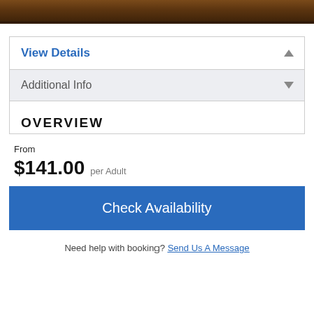[Figure (photo): Dark reddish-brown water or landscape photo strip at top of page]
View Details
Additional Info
OVERVIEW
From
$141.00 per Adult
Check Availability
Need help with booking? Send Us A Message